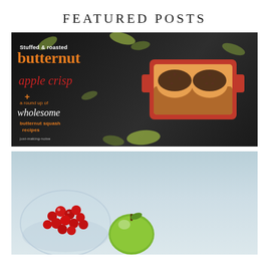FEATURED POSTS
[Figure (photo): Food blog featured post image: stuffed and roasted butternut apple crisp in a red baking dish on a dark slate background with autumn leaves. Text overlay reads 'Stuffed & roasted butternut apple crisp + a round up of wholesome butternut squash recipes just-making-noise']
[Figure (photo): Partial food blog photo showing a glass bowl of red cranberries and a green apple on a light blue-grey background]